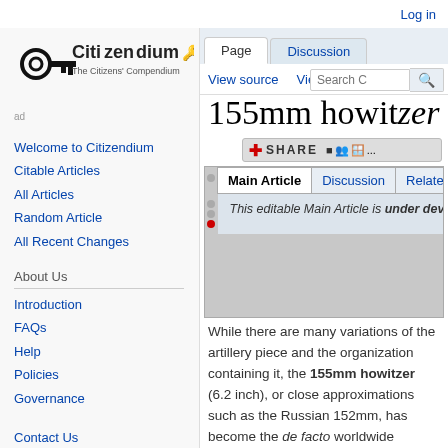Log in
[Figure (logo): Citizendium - The Citizens' Compendium logo with key icon]
Welcome to Citizendium
Citable Articles
All Articles
Random Article
All Recent Changes
About Us
Introduction
FAQs
Help
Policies
Governance
Contact Us
155mm howitzer
|  | Main Article | Discussion | Related Articles |
| --- | --- | --- | --- |
|  | This editable Main Article is under develo... |  |  |
While there are many variations of the artillery piece and the organization containing it, the 155mm howitzer (6.2 inch), or close approximations such as the Russian 152mm, has become the de facto worldwide standard for medium artillery howitzers. Even Russia, whose standard had been 152mm, is now